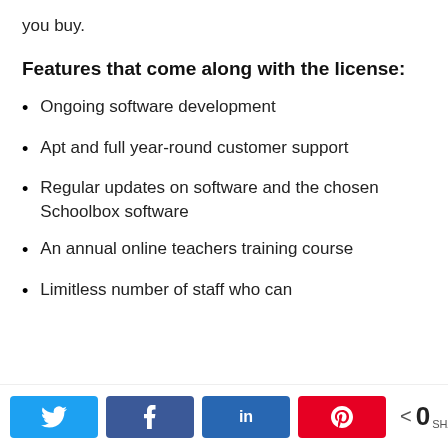you buy.
Features that come along with the license:
Ongoing software development
Apt and full year-round customer support
Regular updates on software and the chosen Schoolbox software
An annual online teachers training course
Limitless number of staff who can
0 SHARES (social share bar with Twitter, Facebook, LinkedIn, Pinterest buttons)